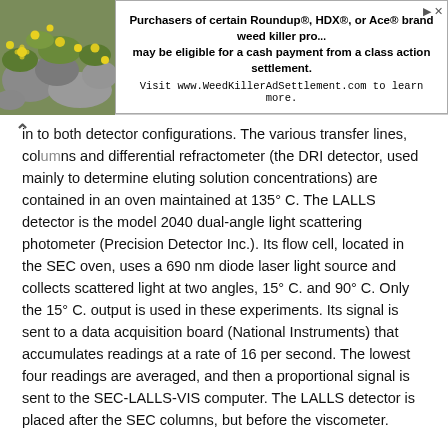[Figure (photo): Advertisement banner with a photo of yellow flowers on rocks on the left, and text about a class action settlement for Roundup, HDX, or Ace brand weed killer products on the right.]
in to both detector configurations. The various transfer lines, columns and differential refractometer (the DRI detector, used mainly to determine eluting solution concentrations) are contained in an oven maintained at 135° C. The LALLS detector is the model 2040 dual-angle light scattering photometer (Precision Detector Inc.). Its flow cell, located in the SEC oven, uses a 690 nm diode laser light source and collects scattered light at two angles, 15° C. and 90° C. Only the 15° C. output is used in these experiments. Its signal is sent to a data acquisition board (National Instruments) that accumulates readings at a rate of 16 per second. The lowest four readings are averaged, and then a proportional signal is sent to the SEC-LALLS-VIS computer. The LALLS detector is placed after the SEC columns, but before the viscometer.
The viscometer is a high temperature Model 150R (Viscotek Corporation). It consists of four capillaries arranged in a Wheatstone bridge configuration with two pressure transducers. One transducer measures the total pressure drop across the detector, and the other, positioned between the two sides of the bridge, measures a differential pressure. The specific viscosity for the solution flowing through the viscometer is calculated from their outputs. The viscometer is inside the SEC oven, positioned after the LALLS detector but